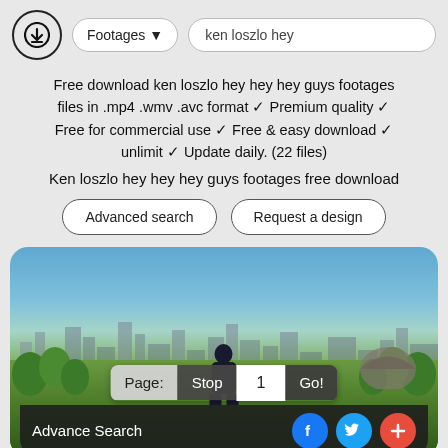Footages  ken loszlo hey
Free download ken loszlo hey hey hey guys footages files in .mp4 .wmv .avc format ✓ Premium quality ✓ Free for commercial use ✓ Free & easy download ✓ unlimit ✓ Update daily. (22 files)
Ken loszlo hey hey hey guys footages free download
Advanced search   Request a design
[Figure (photo): Person sitting on a bench viewed from behind, overlooking a city skyline with green park in foreground, blue sky above. Overlay shows page navigation controls: Page: Stop 1 Go! and bottom bar with Advance Search, Facebook, Twitter, and plus social icons.]